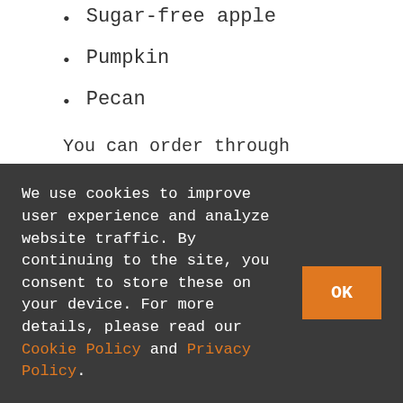Sugar-free apple
Pumpkin
Pecan
You can order through Sunday, November 21. You'll pick your order up the day before Thanksgiving at the site of your choosing (21 around the county!).
Get more info and order here:
[link partially visible]
We use cookies to improve user experience and analyze website traffic. By continuing to the site, you consent to store these on your device. For more details, please read our Cookie Policy and Privacy Policy.